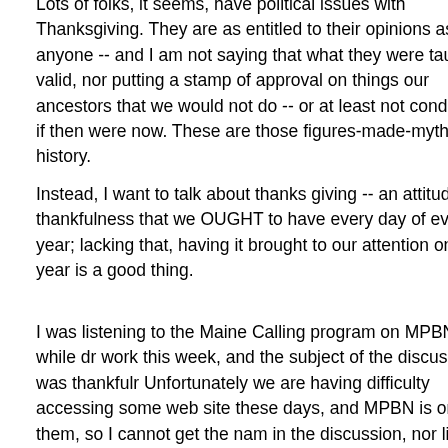Lots of folks, it seems, have political issues with Thanksgiving. They are as entitled to their opinions as anyone -- and I am not saying that what they were taught is valid, nor putting a stamp of approval on things our ancestors that we would not do -- or at least not condone -- if then were now. These are those figures-made-myth from history.
Instead, I want to talk about thanks giving -- an attitude of thankfulness that we OUGHT to have every day of every year; lacking that, having it brought to our attention once a year is a good thing.
I was listening to the Maine Calling program on MPBN while driving to work this week, and the subject of the discussion was thankfulness. Unfortunately we are having difficulty accessing some web sites these days, and MPBN is one of them, so I cannot get the names of those in the discussion, nor link to the podcast. I didn't get to hear the whole thing either, but what I got from the bit I did hear was that cultivating an attitude of gratitude affects us in many positive ways. One might expect some spill-over into other aspects of our personality, such as becoming more a generally positive, which it does. But, the discussion asserted that even a simple practice of taking note of one's blessings with a thankful heart can begin to alleviate depression, as well as having a positive effect on our physical health, such as the lowering of blood pressure and positive changes in the imm